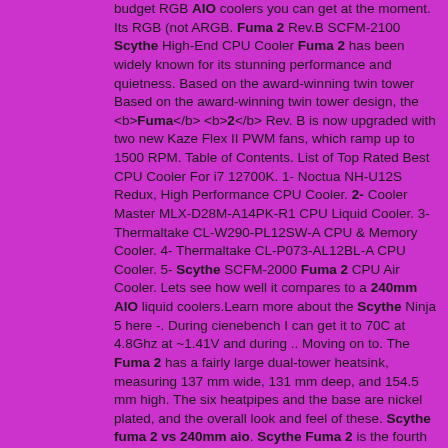budget RGB AIO coolers you can get at the moment. Its RGB (not ARGB. Fuma 2 Rev.B SCFM-2100 Scythe High-End CPU Cooler Fuma 2 has been widely known for its stunning performance and quietness. Based on the award-winning twin tower Based on the award-winning twin tower design, the <b>Fuma</b> <b>2</b> Rev. B is now upgraded with two new Kaze Flex II PWM fans, which ramp up to 1500 RPM. Table of Contents. List of Top Rated Best CPU Cooler For i7 12700K. 1- Noctua NH-U12S Redux, High Performance CPU Cooler. 2- Cooler Master MLX-D28M-A14PK-R1 CPU Liquid Cooler. 3- Thermaltake CL-W290-PL12SW-A CPU & Memory Cooler. 4- Thermaltake CL-P073-AL12BL-A CPU Cooler. 5- Scythe SCFM-2000 Fuma 2 CPU Air Cooler. Lets see how well it compares to a 240mm AIO liquid coolers.Learn more about the Scythe Ninja 5 here -. During cienebench I can get it to 70C at 4.8Ghz at ~1.41V and during .. Moving on to. The Fuma 2 has a fairly large dual-tower heatsink, measuring 137 mm wide, 131 mm deep, and 154.5 mm high. The six heatpipes and the base are nickel plated, and the overall look and feel of these. Scythe fuma 2 vs 240mm aio. Scythe Fuma 2 is the fourth character in the Scythe Fuma series. Enough with the liquid coolers. Let's talk about air coolers right now. If you're looking for an air cooler for your computer, the Scythe Fuma 2 is a good choice. This model has a lot of